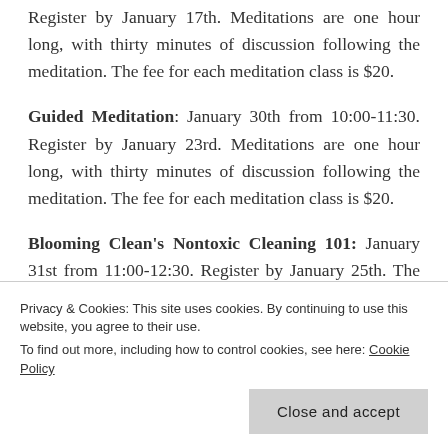Register by January 17th. Meditations are one hour long, with thirty minutes of discussion following the meditation. The fee for each meditation class is $20.
Guided Meditation: January 30th from 10:00-11:30. Register by January 23rd. Meditations are one hour long, with thirty minutes of discussion following the meditation. The fee for each meditation class is $20.
Blooming Clean's Nontoxic Cleaning 101: January 31st from 11:00-12:30. Register by January 25th. The class will cover everything you need to put together
Privacy & Cookies: This site uses cookies. By continuing to use this website, you agree to their use. To find out more, including how to control cookies, see here: Cookie Policy
Close and accept
everything from bamboo steel apparatus to inter